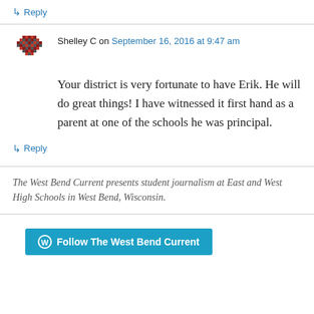↳ Reply
Shelley C on September 16, 2016 at 9:47 am
Your district is very fortunate to have Erik. He will do great things! I have witnessed it first hand as a parent at one of the schools he was principal.
↳ Reply
The West Bend Current presents student journalism at East and West High Schools in West Bend, Wisconsin.
Follow The West Bend Current